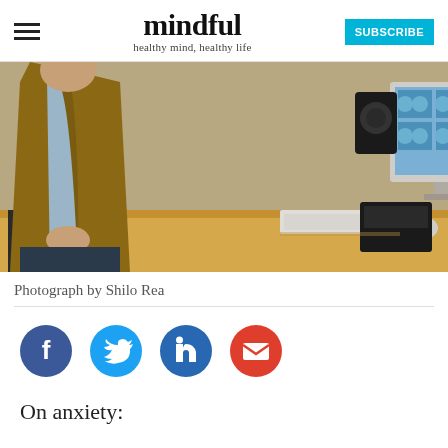mindful — healthy mind, healthy life
[Figure (photo): Person in brown blazer sitting at a desk with a computer monitor showing brain scans, a keyboard, speaker, and telephone in the background]
Photograph by Shilo Rea
[Figure (infographic): Social sharing icons: Facebook (dark blue), Twitter (light blue), LinkedIn (blue), Email (red)]
On anxiety: